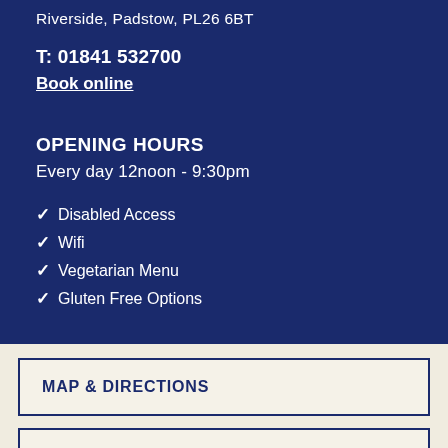Riverside, Padstow, PL26 6BT
T: 01841 532700
Book online
OPENING HOURS
Every day 12noon - 9:30pm
✓ Disabled Access
✓ Wifi
✓ Vegetarian Menu
✓ Gluten Free Options
MAP & DIRECTIONS
BUY A GIFT CARD